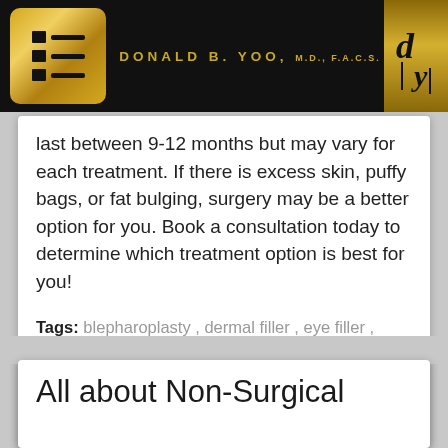DONALD B. YOO, M.D., F.A.C.S.
last between 9-12 months but may vary for each treatment. If there is excess skin, puffy bags, or fat bulging, surgery may be a better option for you. Book a consultation today to determine which treatment option is best for you!
Tags: blepharoplasty , dermal filler , eye filler , filler , injector , lower blepharoplasty , Rhinoplasty specialist , under eye , under eye filler
All about Non-Surgical